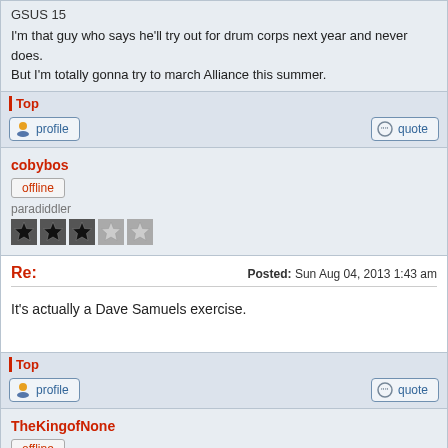GSUS 15

I'm that guy who says he'll try out for drum corps next year and never does.
But I'm totally gonna try to march Alliance this summer.
Top
profile | quote
cobybos
offline
paradiddler
Re: Posted: Sun Aug 04, 2013 1:43 am
It's actually a Dave Samuels exercise.
Top
profile | quote
TheKingofNone
offline
ramming notes